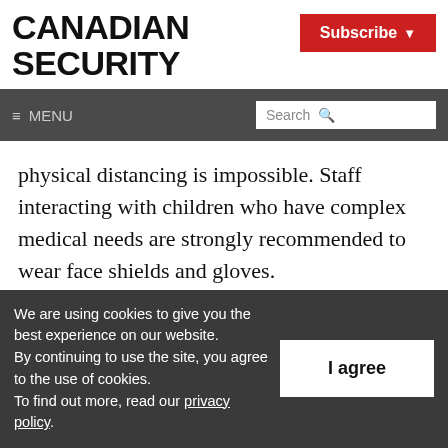CANADIAN SECURITY
Subscribe
≡ MENU   Search
physical distancing is impossible. Staff interacting with children who have complex medical needs are strongly recommended to wear face shields and gloves.

Transportation: Parents are asked to take
We are using cookies to give you the best experience on our website. By continuing to use the site, you agree to the use of cookies. To find out more, read our privacy policy.